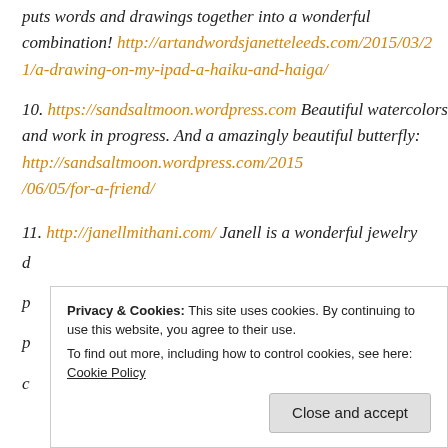puts words and drawings together into a wonderful combination! http://artandwordsjanetteleeds.com/2015/03/21/a-drawing-on-my-ipad-a-haiku-and-haiga/
10. https://sandsaltmoon.wordpress.com Beautiful watercolors and work in progress. And a amazingly beautiful butterfly: http://sandsaltmoon.wordpress.com/2015/06/05/for-a-friend/
11. http://janellmithani.com/ Janell is a wonderful jewelry d... p... p... c...
Privacy & Cookies: This site uses cookies. By continuing to use this website, you agree to their use. To find out more, including how to control cookies, see here: Cookie Policy [Close and accept]